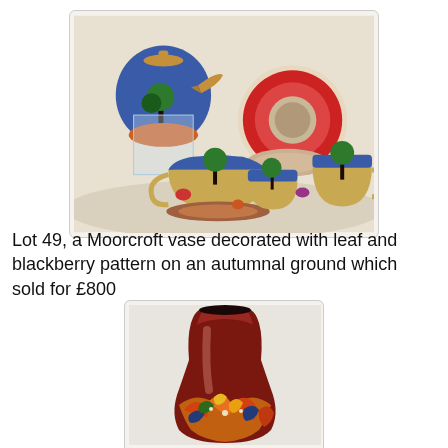[Figure (photo): A collection of colorful Art Deco pottery pieces including cups, saucers, a teapot and sugar bowl with bold geometric and tree patterns in blue, red, orange and green on a cream background, arranged on a white surface.]
Lot 49, a Moorcroft vase decorated with leaf and blackberry pattern on an autumnal ground which sold for £800
[Figure (photo): A Moorcroft vase with a deep reddish-brown glaze on the upper portion and autumnal leaf and blackberry pattern in orange, yellow, blue and green on the lower body.]